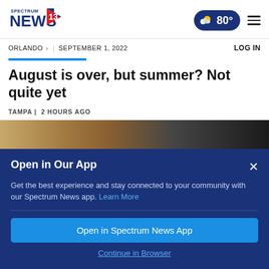[Figure (logo): Spectrum News 13 logo with flag icon]
[Figure (infographic): Weather pill showing partly sunny icon and 80 degrees temperature]
ORLANDO > | SEPTEMBER 1, 2022
LOG IN
August is over, but summer? Not quite yet
TAMPA | 2 HOURS AGO
[Figure (photo): Partial article photo showing a warm sunset scene]
Open in Our App
Get the best experience and stay connected to your community with our Spectrum News app. Learn More
Open in Spectrum News App
Continue in Browser